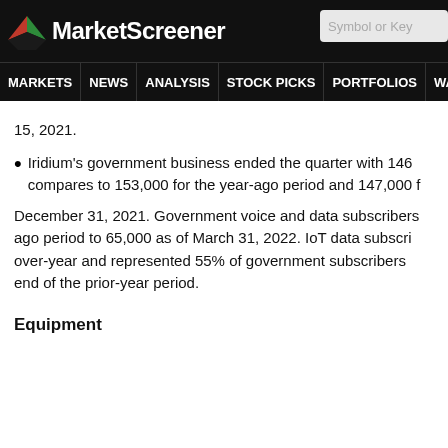MarketScreener — MARKETS NEWS ANALYSIS STOCK PICKS PORTFOLIOS WATCHLI...
15, 2021.
Iridium's government business ended the quarter with 146... compares to 153,000 for the year-ago period and 147,000 f...
December 31, 2021. Government voice and data subscribers... ago period to 65,000 as of March 31, 2022. IoT data subscri... over-year and represented 55% of government subscribers... end of the prior-year period.
Equipment